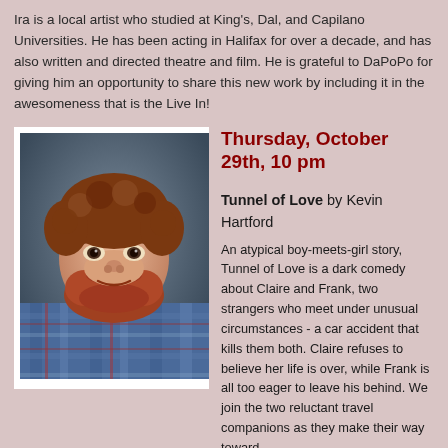Ira is a local artist who studied at King's, Dal, and Capilano Universities. He has been acting in Halifax for over a decade, and has also written and directed theatre and film. He is grateful to DaPoPo for giving him an opportunity to share this new work by including it in the awesomeness that is the Live In!
[Figure (photo): Headshot portrait of a man with red beard and curly hair wearing a plaid shirt]
Thursday, October 29th, 10 pm
Tunnel of Love by Kevin Hartford
An atypical boy-meets-girl story, Tunnel of Love is a dark comedy about Claire and Frank, two strangers who meet under unusual circumstances - a car accident that kills them both. Claire refuses to believe her life is over, while Frank is all too eager to leave his behind. We join the two reluctant travel companions as they make their way toward